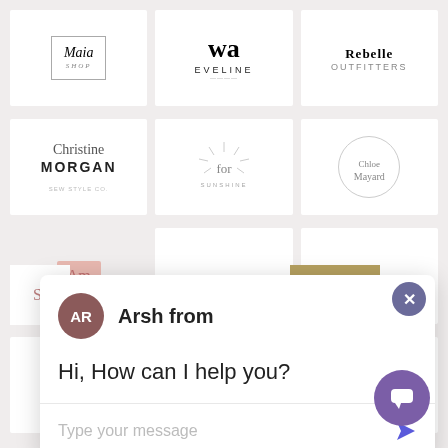[Figure (screenshot): A screenshot of a logo design marketplace website showing multiple brand logos in a grid layout, with a chat widget overlay. The logos include: Maia Shop, wa Eveline, Rebelle Outfitters, Christine Morgan, for Sunshine, Chloe Mayard (circle), Amelie logo, SR Serena Nara, Amelie Sanders, Cleopatra, Anabelle, GrantMedia Advertising, Simone. A chat popup shows an avatar with initials AR, the name 'Arsh from', and message 'Hi, How can I help you?' with a text input field. A purple close button (×) and a purple chat bubble button are also visible.]